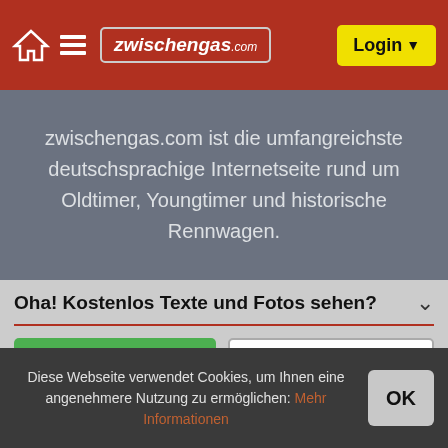[Figure (screenshot): Navigation bar with home icon, hamburger menu, zwischengas.com logo, and yellow Login button on dark red background]
zwischengas.com ist die umfangreichste deutschsprachige Internetseite rund um Oldtimer, Youngtimer und historische Rennwagen.
Oha! Kostenlos Texte und Fotos sehen?
Anmelden
Neu registrieren
Facebook Login
Google Login
Diese Webseite verwendet Cookies, um Ihnen eine angenehmere Nutzung zu ermöglichen: Mehr Informationen